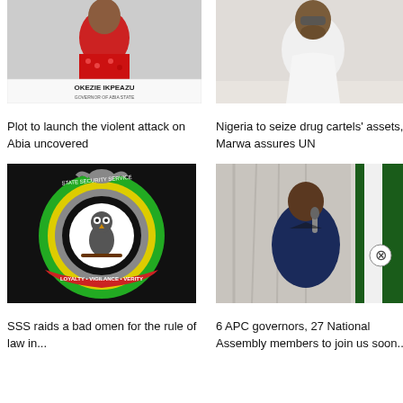[Figure (photo): Photo of Okezie Ikpeazu, Governor of Abia State, wearing a red patterned outfit with OKEZIE IKPEAZU text visible]
Plot to launch the violent attack on Abia uncovered
[Figure (photo): Photo of Marwa wearing a white outfit with sunglasses]
Nigeria to seize drug cartels' assets, Marwa assures UN
[Figure (logo): State Security Service logo - circular emblem with owl, green and yellow ring, on black background. Text: LOYALTY • VIGILANCE • VERITY]
SSS raids a bad omen for the rule of law in...
[Figure (photo): Man in dark navy outfit speaking into a microphone at a podium, Nigerian flag visible in background]
6 APC governors, 27 National Assembly members to join us soon...